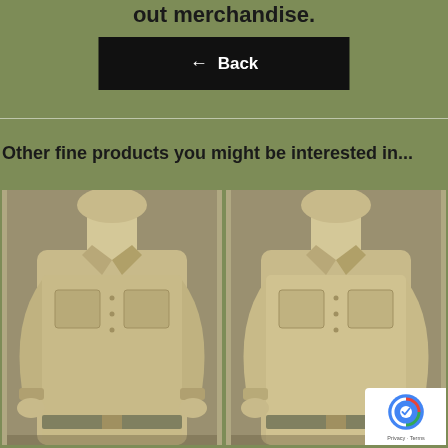out merchandise.
[Figure (screenshot): Black button with white left-arrow and text 'Back']
Other fine products you might be interested in...
[Figure (photo): Mannequin wearing a khaki military-style long-sleeve shirt with chest pockets, left product]
[Figure (photo): Mannequin wearing a khaki military-style long-sleeve shirt with chest pockets, right product]
[Figure (other): Google reCAPTCHA privacy badge with Privacy and Terms links]